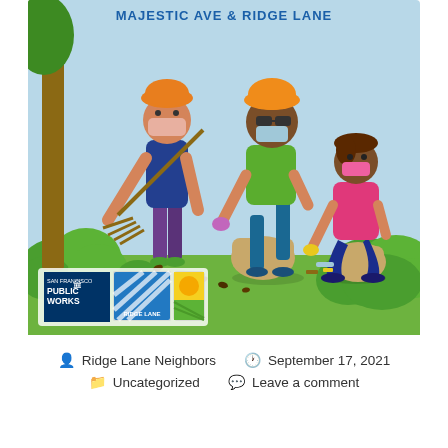[Figure (illustration): Community cleanup event illustration showing three volunteers wearing masks picking up litter and raking leaves outdoors with green bushes and a tree. Title at top reads 'MAJESTIC AVE & RIDGE LANE'. Logos at bottom left: San Francisco Public Works, Ridge Lane, and a sun/green field logo.]
Ridge Lane Neighbors   September 17, 2021   Uncategorized   Leave a comment